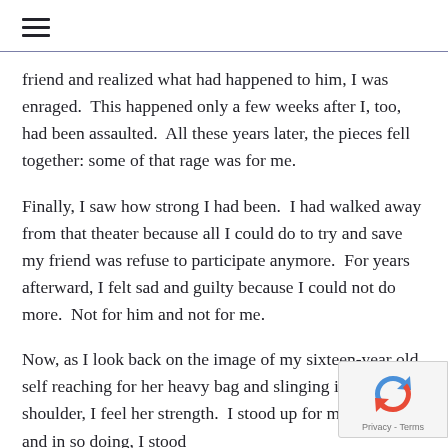≡
friend and realized what had happened to him, I was enraged.  This happened only a few weeks after I, too, had been assaulted.  All these years later, the pieces fell together: some of that rage was for me.
Finally, I saw how strong I had been.  I had walked away from that theater because all I could do to try and save my friend was refuse to participate anymore.  For years afterward, I felt sad and guilty because I could not do more.  Not for him and not for me.
Now, as I look back on the image of my sixteen-year old self reaching for her heavy bag and slinging it over her shoulder, I feel her strength.  I stood up for my friends and in so doing, I stood